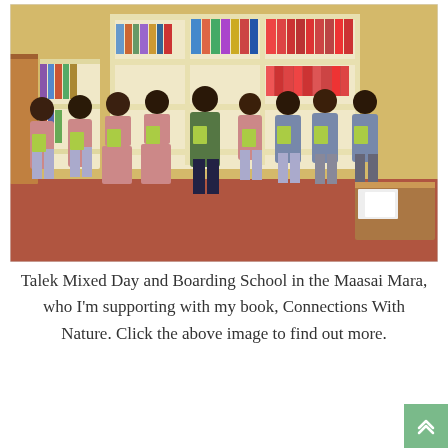[Figure (photo): Group photo of students and a teacher standing in a classroom/library holding books. Behind them are white bookshelves filled with colorful books. The students wear pink school uniforms and grey sweaters. The teacher is in a green polo shirt. A wooden desk is visible on the right.]
Talek Mixed Day and Boarding School in the Maasai Mara, who I'm supporting with my book, Connections With Nature. Click the above image to find out more.